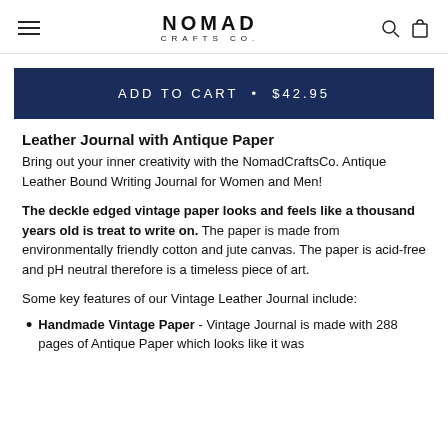NOMAD CRAFTS CO.
ADD TO CART • $42.95
Leather Journal with Antique Paper
Bring out your inner creativity with the NomadCraftsCo. Antique Leather Bound Writing Journal for Women and Men!
The deckle edged vintage paper looks and feels like a thousand years old is treat to write on. The paper is made from environmentally friendly cotton and jute canvas. The paper is acid-free and pH neutral therefore is a timeless piece of art.
Some key features of our Vintage Leather Journal include:
Handmade Vintage Paper - Vintage Journal is made with 288 pages of Antique Paper which looks like it was